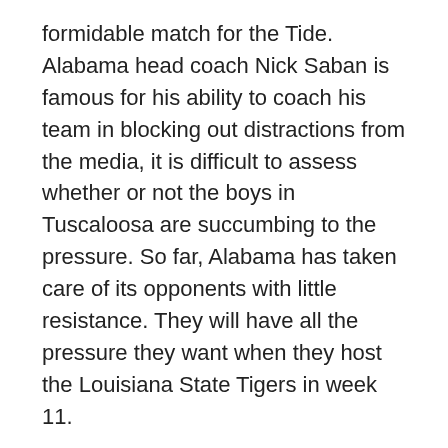formidable match for the Tide.  Alabama head coach Nick Saban is famous for his ability to coach his team in blocking out distractions from the media, it is difficult to assess whether or not the boys in Tuscaloosa are succumbing to the pressure.  So far, Alabama has taken care of its opponents with little resistance.  They will have all the pressure they want when they host the Louisiana State Tigers in week 11.
The Crimson Tide is not the only top team facing a tough fight in week 11.  The Oregon Ducks will likely have their biggest challenge yet when they meet Stanford early in the week.  The Cardinals are hoping to rebound after an embarrassing loss to Utah earlier in the season that knocked them out of the national title discussion.
Week 10 was loaded with top ten bouts and week 11 is